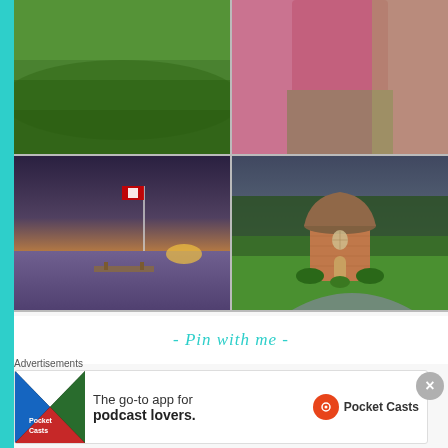[Figure (photo): 2x2 grid of Instagram-style photos: top-left shows a green meadow/field landscape, top-right shows a person in a pink top and patterned skirt, bottom-left shows a sunset over water with a Canadian flag on a pole and a dock, bottom-right shows a small brick gazebo or cottage with a domed roof surrounded by green grass and trees under a cloudy sky]
- Pin with me -
Advertisements
[Figure (screenshot): Advertisement banner for Pocket Casts app: colorful geometric icon on the left, text 'The go-to app for podcast lovers.' in the center, Pocket Casts logo (red circle with headphone icon) and name on the right]